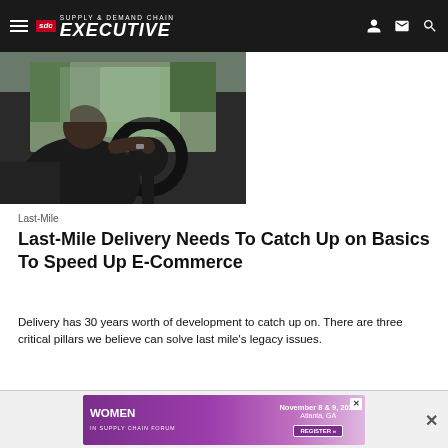Supply & Demand Chain Executive
[Figure (photo): Person seated in a truck cab viewed from behind, reaching toward the steering wheel, with trees visible through the windshield.]
Last-Mile
Last-Mile Delivery Needs To Catch Up on Basics To Speed Up E-Commerce
Delivery has 30 years worth of development to catch up on. There are three critical pillars we believe can solve last mile's legacy issues.
Yalla Fel Sekka (YFS)
August 29, 2022
[Figure (infographic): Advertisement banner for 'Women in Supply Chain Forum' event, November 8 & 9, 2022, Atlanta, GA with a Register button.]